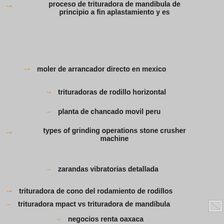proceso de trituradora de mandibula de principio a fin aplastamiento y es
moler de arrancador directo en mexico
trituradoras de rodillo horizontal
planta de chancado movil peru
types of grinding operations stone crusher machine
zarandas vibratorias detallada
trituradora de cono del rodamiento de rodillos
trituradora mpact vs trituradora de mandíbula
negocios renta oaxaca